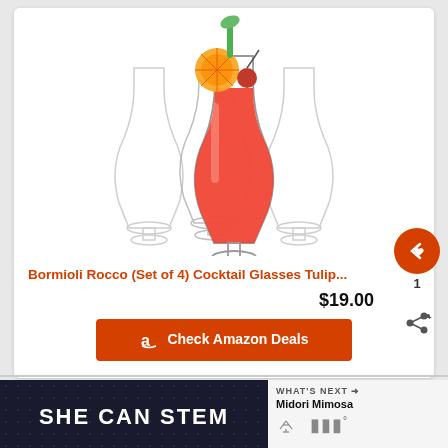[Figure (photo): Four tulip-shaped cocktail glasses, one filled with red drink garnished with orange slice and cherry]
Bormioli Rocco (Set of 4) Cocktail Glasses Tulip...
$19.00
Check Amazon Deals
[Figure (infographic): SHE CAN STEM banner advertisement with dark background]
WHAT'S NEXT → Midori Mimosa